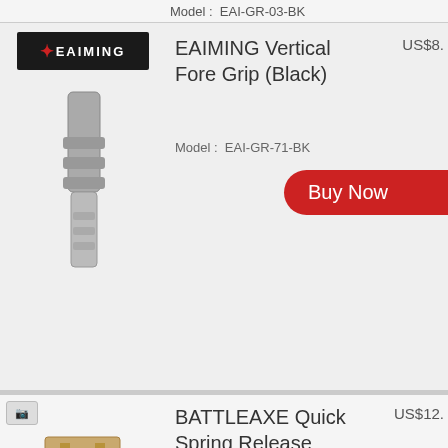Model :  EAI-GR-03-BK
[Figure (screenshot): EAIMING brand logo — black rectangle with star and EAIMING text in white]
[Figure (photo): Gray vertical fore grip product photo]
EAIMING Vertical Fore Grip (Black)
US$8.
Model :  EAI-GR-71-BK
Buy Now
[Figure (photo): Camera/zoom icon]
[Figure (photo): Tan double rail bipod grip product photo]
BATTLEAXE Quick Spring Release Double Rail Bipod Grip (Tan, A)
US$12.
Buy Now
Model :  BX-BIP-01-C-TAN
[Figure (photo): Camera/zoom icon]
[Figure (photo): Tan single rail bipod grip product photo]
BATTLEAXE Quick Spring Release Single Rail Bipod Grip (Tan, A)
$12.
[Figure (logo): Lambda/Audentio dark gray circle overlay logo]
w
Model :  BX-BIP-01-D-TAN
[Figure (photo): Camera/zoom icon]
[Figure (photo): Black bipod grip product photo (partially visible)]
BATTLEAXE Quick Spring Release
US$9.